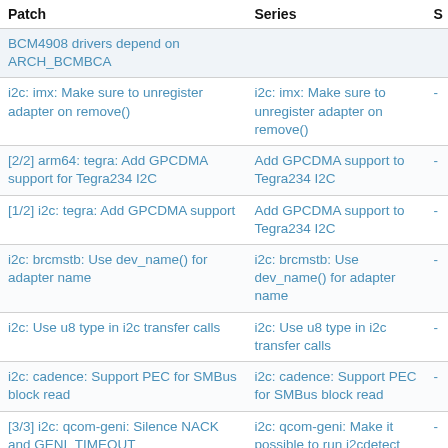| Patch | Series | S |
| --- | --- | --- |
| BCM4908 drivers depend on ARCH_BCMBCA |  |  |
| i2c: imx: Make sure to unregister adapter on remove() | i2c: imx: Make sure to unregister adapter on remove() | - |
| [2/2] arm64: tegra: Add GPCDMA support for Tegra234 I2C | Add GPCDMA support to Tegra234 I2C | - |
| [1/2] i2c: tegra: Add GPCDMA support | Add GPCDMA support to Tegra234 I2C | - |
| i2c: brcmstb: Use dev_name() for adapter name | i2c: brcmstb: Use dev_name() for adapter name | - |
| i2c: Use u8 type in i2c transfer calls | i2c: Use u8 type in i2c transfer calls | - |
| i2c: cadence: Support PEC for SMBus block read | i2c: cadence: Support PEC for SMBus block read | - |
| [3/3] i2c: qcom-geni: Silence NACK and GENI_TIMEOUT | i2c: qcom-geni: Make it possible to run i2cdetect | - |
| [2/3] i2c: qcom-geni: Propagate GENI_ABORT_DONE to geni_i2c_abort_xfer() | i2c: qcom-geni: Make it possible to run i2cdetect | - |